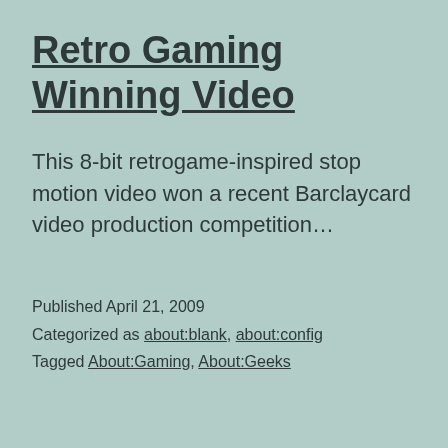Retro Gaming Winning Video
This 8-bit retrogame-inspired stop motion video won a recent Barclaycard video production competition…
Published April 21, 2009
Categorized as about:blank, about:config
Tagged About:Gaming, About:Geeks